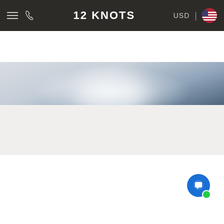12 KNOTS — USD | US Flag
[Figure (photo): Blurred aerial or sailing photo with misty white and dark blue tones, showing what appears to be a sail or boat in fog]
YACHT TYPES AVAILABLE FOR CHARTER
[Figure (photo): Sailing yacht photo showing crew on deck with sails and rigging in foreground, people seated on boat deck]